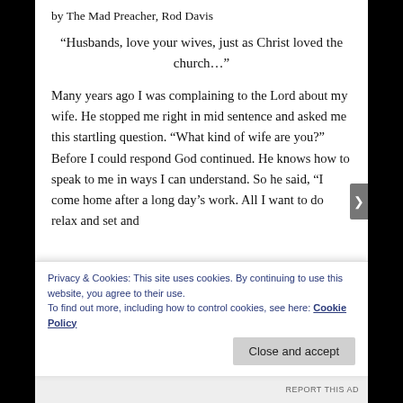by The Mad Preacher, Rod Davis
“Husbands, love your wives, just as Christ loved the church…”
Many years ago I was complaining to the Lord about my wife. He stopped me right in mid sentence and asked me this startling question. “What kind of wife are you?” Before I could respond God continued. He knows how to speak to me in ways I can understand. So he said, “I come home after a long day’s work. All I want to do relax and set and
Privacy & Cookies: This site uses cookies. By continuing to use this website, you agree to their use.
To find out more, including how to control cookies, see here: Cookie Policy